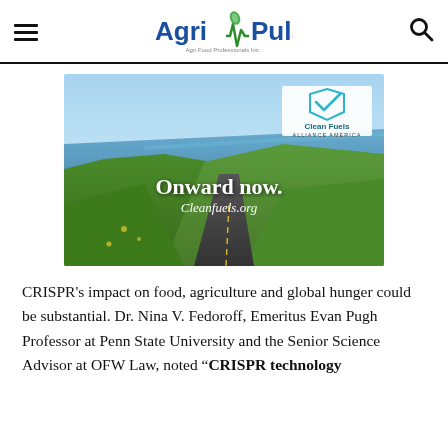AgriPulse — Agri Food Professionals Inc.
[Figure (photo): Advertisement for Clean Fuels Alliance America showing a scenic coastal road winding through green hills with ocean in background. Text overlay reads 'Onward now.' and 'Cleanfuels.org'. Clean Fuels Alliance America logo in upper right.]
CRISPR's impact on food, agriculture and global hunger could be substantial. Dr. Nina V. Fedoroff, Emeritus Evan Pugh Professor at Penn State University and the Senior Science Advisor at OFW Law, noted “CRISPR technology